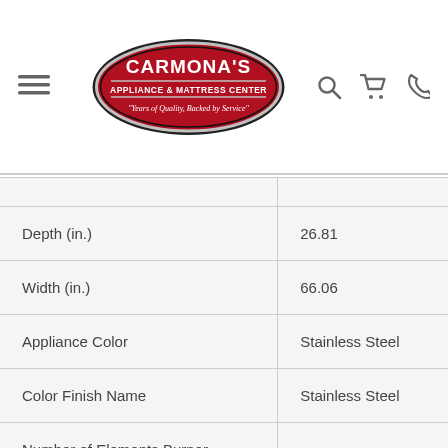Carmona's Appliance & Mattress Center
| Attribute | Value |
| --- | --- |
| Depth (in.) | 26.81 |
| Width (in.) | 66.06 |
| Appliance Color | Stainless Steel |
| Color Finish Name | Stainless Steel |
| Number of Elements Burner Cooking Zones | 3 |